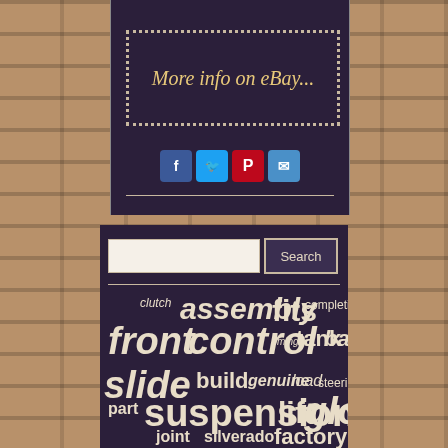[Figure (screenshot): eBay listing widget with dotted border containing text 'More info on eBay...' and social share icons (Facebook, Twitter, Pinterest, Email) on a dark purple background with brick side borders]
[Figure (screenshot): Website search widget with search input and button, followed by a tag/word cloud on dark purple background. Words include: clutch, assembly, fits, completion, front, control, timing, tank, ball, slide, build, genuine, load, steering, part, suspension, lift, glock, joint, silverado, factory, complete]